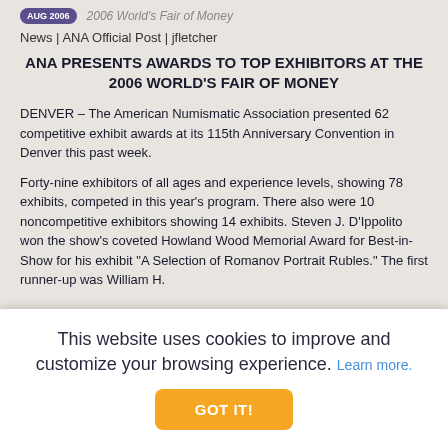AUG 2006 | 2006 World's Fair of Money
News | ANA Official Post | jfletcher
ANA PRESENTS AWARDS TO TOP EXHIBITORS AT THE 2006 WORLD'S FAIR OF MONEY
DENVER – The American Numismatic Association presented 62 competitive exhibit awards at its 115th Anniversary Convention in Denver this past week.
Forty-nine exhibitors of all ages and experience levels, showing 78 exhibits, competed in this year's program. There also were 10 noncompetitive exhibitors showing 14 exhibits. Steven J. D'Ippolito won the show's coveted Howland Wood Memorial Award for Best-in-Show for his exhibit "A Selection of Romanov Portrait Rubles." The first runner-up was William H.
This website uses cookies to improve and customize your browsing experience. Learn more.
GOT IT!